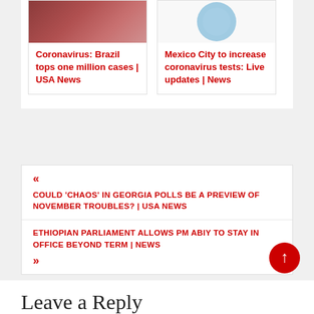[Figure (photo): Partial view of two news article cards with images. Left card shows a photo of people, right card shows a blue circular image.]
Coronavirus: Brazil tops one million cases | USA News
Mexico City to increase coronavirus tests: Live updates | News
« COULD 'CHAOS' IN GEORGIA POLLS BE A PREVIEW OF NOVEMBER TROUBLES? | USA NEWS
ETHIOPIAN PARLIAMENT ALLOWS PM ABIY TO STAY IN OFFICE BEYOND TERM | NEWS
»
Leave a Reply